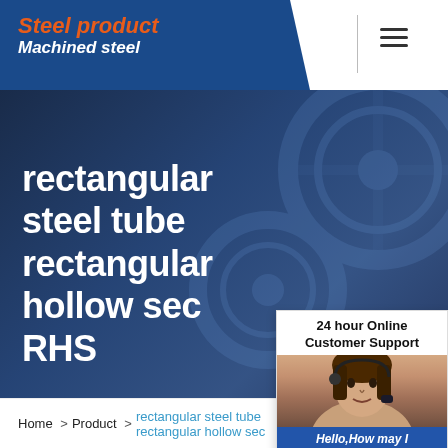Steel product | Machined steel
rectangular steel tube rectangular hollow section RHS
Home  >Product  > rectangular steel tube rectangular hollow section
[Figure (screenshot): 24 hour Online Customer Support chat widget showing a female customer support agent with headset, with 'Hello, How may I help you?' text and a 'Chat Now' button]